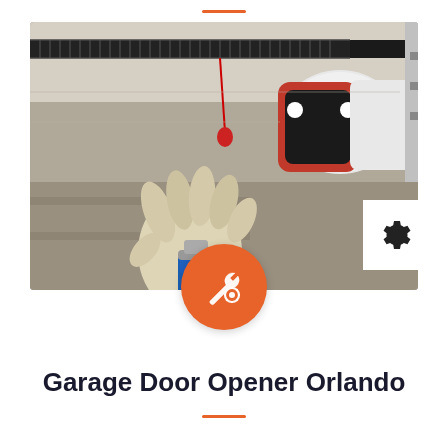[Figure (photo): A gloved hand using a spray lubricant on a garage door opener mechanism mounted on the ceiling. A red garage door opener motor unit is visible in the background, along with a torsion spring rail.]
Garage Door Opener Orlando